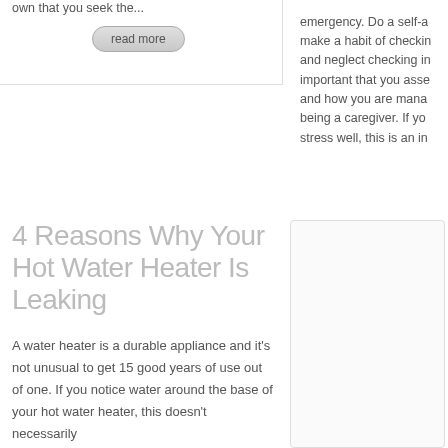own that you seek the...
read more
emergency. Do a self-a make a habit of checkin and neglect checking in important that you asse and how you are mana being a caregiver. If yo stress well, this is an in
4 Reasons Why Your Hot Water Heater Is Leaking
A water heater is a durable appliance and it's not unusual to get 15 good years of use out of one. If you notice water around the base of your hot water heater, this doesn't necessarily